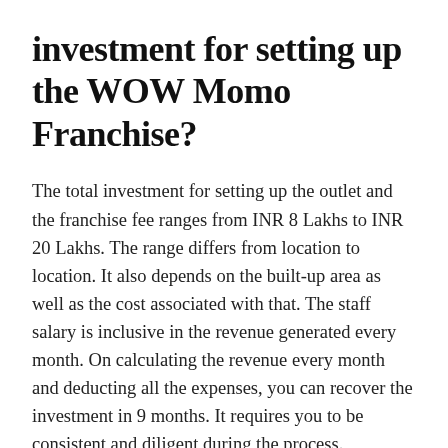investment for setting up the WOW Momo Franchise?
The total investment for setting up the outlet and the franchise fee ranges from INR 8 Lakhs to INR 20 Lakhs. The range differs from location to location. It also depends on the built-up area as well as the cost associated with that. The staff salary is inclusive in the revenue generated every month. On calculating the revenue every month and deducting all the expenses, you can recover the investment in 9 months. It requires you to be consistent and diligent during the process.
The food chain has always seen massive results...